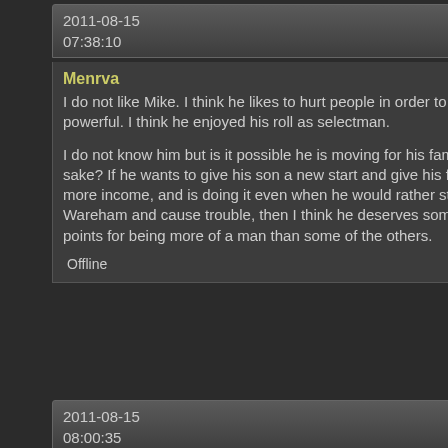2011-08-15  07:38:10  #39
Menrva
I do not like Mike. I think he likes to hurt people in order to feel powerful. I think he enjoyed his roll as selectman.

I do not know him but is it possible he is moving for his family's sake? If he wants to give his son a new start and give his family more income, and is doing it even when he would rather stay in Wareham and cause trouble, then I think he deserves some points for being more of a man than some of the others.

Offline
2011-08-15  08:00:35  #40